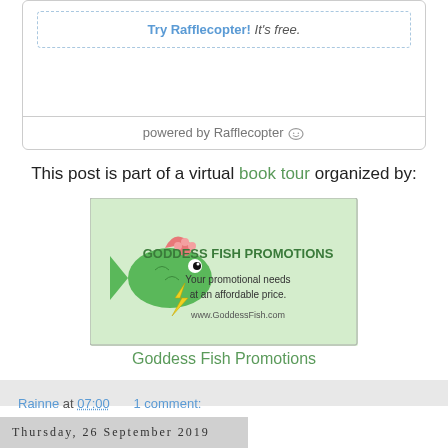[Figure (screenshot): Rafflecopter widget box with 'Try Rafflecopter! It's free.' link inside a dashed border, and 'powered by Rafflecopter' footer bar with smiley icon.]
This post is part of a virtual book tour organized by:
[Figure (logo): Goddess Fish Promotions banner logo - green fish with pink flower, text 'GODDESS FISH PROMOTIONS Your promotional needs at an affordable price. www.GoddessFish.com' on light green background.]
Goddess Fish Promotions
Rainne at 07:00    1 comment:
Share
Thursday, 26 September 2019